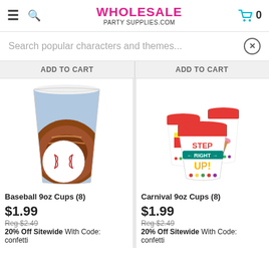WHOLESALE PARTY SUPPLIES.COM
Search popular characters and themes...
ADD TO CART   ADD TO CART
[Figure (photo): Baseball 9oz paper cup with baseball glove and ball graphic]
Baseball 9oz Cups (8)
$1.99
Reg $2.49
20% Off Sitewide With Code:
confetti
[Figure (photo): Carnival 9oz paper cups (3 cups) with Step Right Up carnival theme graphic]
Carnival 9oz Cups (8)
$1.99
Reg $2.49
20% Off Sitewide With Code:
confetti